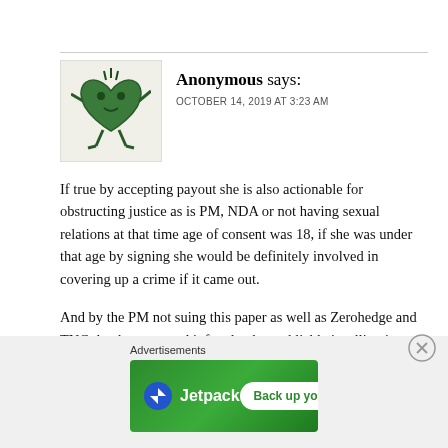[Figure (illustration): Avatar of Anonymous commenter — a cartoon green heart-shaped figure with arms and legs]
Anonymous says:
OCTOBER 14, 2019 AT 3:23 AM
If true by accepting payout she is also actionable for obstructing justice as is PM, NDA or not having sexual relations at that time age of consent was 18, if she was under that age by signing she would be definitely involved in covering up a crime if it came out.
And by the PM not suing this paper as well as Zerohedge and TNC that has reported it for slander and liable is telling in itself, almost condemning considering how our elected officials sue each other all the time.
[Figure (screenshot): Jetpack advertisement banner: Jetpack logo with text 'Back up your site' button on green background]